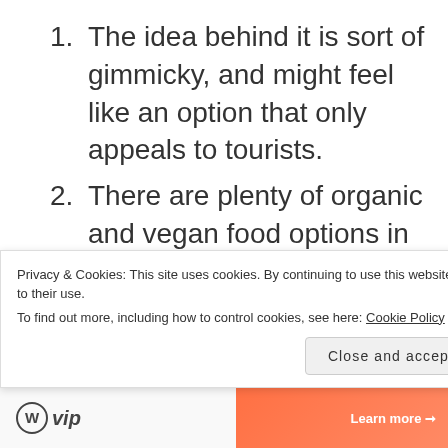The idea behind it is sort of gimmicky, and might feel like an option that only appeals to tourists.
There are plenty of organic and vegan food options in California that don't require you to be so positive about the world
Privacy & Cookies: This site uses cookies. By continuing to use this website, you agree to their use.
To find out more, including how to control cookies, see here: Cookie Policy